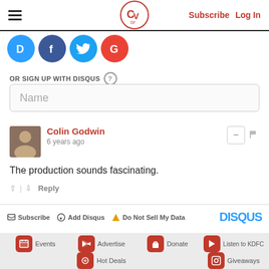CV SF — Subscribe  Log In
[Figure (screenshot): Social sign-in icon buttons: Disqus (D), Facebook (f), Twitter (bird), Google (G)]
OR SIGN UP WITH DISQUS ?
Name
Colin Godwin
6 years ago
The production sounds fascinating.
↑ | ↓  Reply
✉ Subscribe  ● Add Disqus  ▲ Do Not Sell My Data  DISQUS
Events  Advertise  Donate  Listen to KDFC  Hot Deals  Giveaways